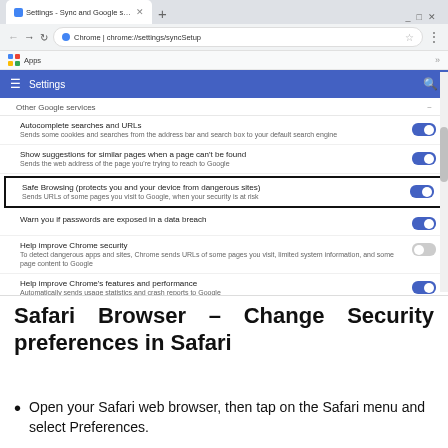[Figure (screenshot): Screenshot of Google Chrome browser showing the Settings > Sync and Google services page. The 'Safe Browsing (protects you and your device from dangerous sites)' option is highlighted with a black border. Multiple toggles are shown for: Autocomplete searches and URLs (on), Show suggestions for similar pages when a page can't be found (on), Safe Browsing (on, highlighted), Warn you if passwords are exposed in a data breach (on), Help improve Chrome security (off), Help improve Chrome's features and performance (on).]
Safari Browser – Change Security preferences in Safari
Open your Safari web browser, then tap on the Safari menu and select Preferences.